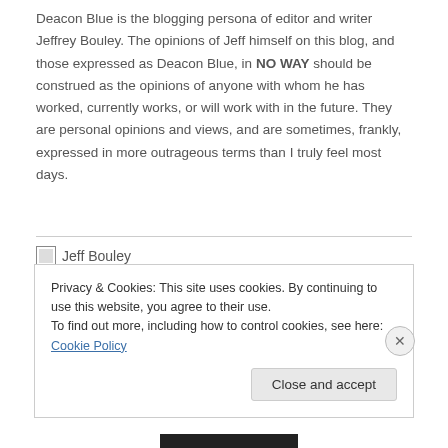Deacon Blue is the blogging persona of editor and writer Jeffrey Bouley. The opinions of Jeff himself on this blog, and those expressed as Deacon Blue, in NO WAY should be construed as the opinions of anyone with whom he has worked, currently works, or will work with in the future. They are personal opinions and views, and are sometimes, frankly, expressed in more outrageous terms than I truly feel most days.
[Figure (photo): Broken image placeholder labeled 'Jeff Bouley']
Privacy & Cookies: This site uses cookies. By continuing to use this website, you agree to their use.
To find out more, including how to control cookies, see here: Cookie Policy
Close and accept